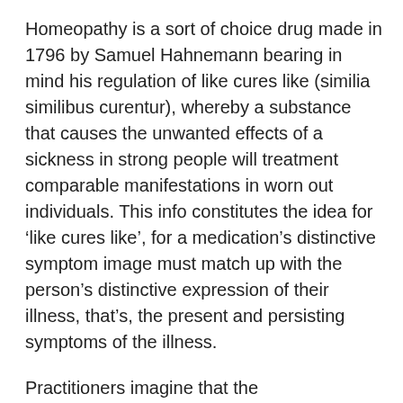Homeopathy is a sort of choice drug made in 1796 by Samuel Hahnemann bearing in mind his regulation of like cures like (similia similibus curentur), whereby a substance that causes the unwanted effects of a sickness in strong people will treatment comparable manifestations in worn out individuals. This info constitutes the idea for ‘like cures like’, for a medication’s distinctive symptom image must match up with the person’s distinctive expression of their illness, that’s, the present and persisting symptoms of the illness.
Practitioners imagine that the electromagnetic vitality of the original substance is retained in the dilution, however poisonous side effects of the remedy should not. The precept of the only treatment states that a single medication ought to cover all of the signs the patient is experiencing: mental, emotional and physical. There is indeed evidence that homeopathy works: A recent Swiss